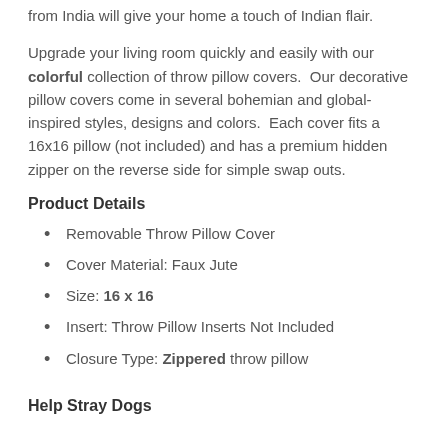from India will give your home a touch of Indian flair.
Upgrade your living room quickly and easily with our colorful collection of throw pillow covers. Our decorative pillow covers come in several bohemian and global-inspired styles, designs and colors. Each cover fits a 16x16 pillow (not included) and has a premium hidden zipper on the reverse side for simple swap outs.
Product Details
Removable Throw Pillow Cover
Cover Material: Faux Jute
Size: 16 x 16
Insert: Throw Pillow Inserts Not Included
Closure Type: Zippered throw pillow
Help Stray Dogs